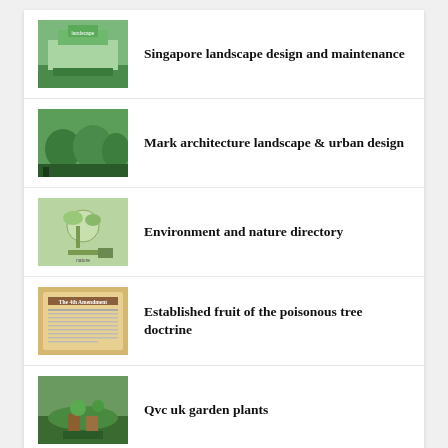Singapore landscape design and maintenance
Mark architecture landscape & urban design
Environment and nature directory
Established fruit of the poisonous tree doctrine
Qvc uk garden plants